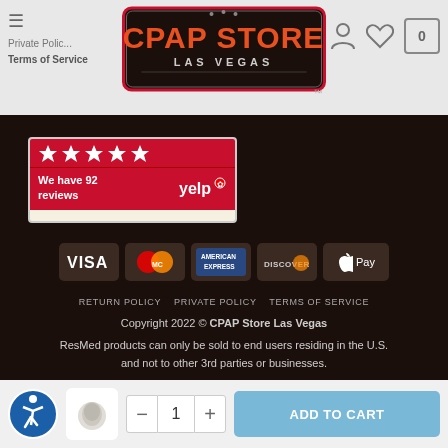CPAP Store Las Vegas — website header with navigation
Private Policy
Terms of Service
[Figure (logo): CPAP Store Las Vegas logo in orange and dark border]
[Figure (infographic): Yelp badge showing 5 stars and 92 reviews]
[Figure (infographic): Payment method icons: VISA, MasterCard, American Express, Discover, Apple Pay]
RETURN POLICY   PRIVATE POLICY   TERMS OF SERVICE
Copyright 2022 © CPAP Store Las Vegas
ResMed products can only be sold to end users residing in the U.S. and not to other 3rd parties or businesses.
[Figure (infographic): Accessibility icon, product thumbnail, quantity controls with - 1 +, and ADD TO CART button]